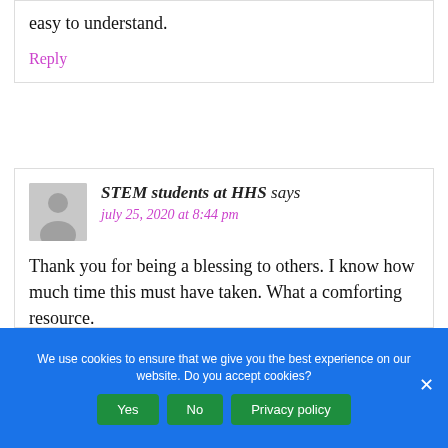illustrations and simple sentences are easy to understand.
Reply
STEM students at HHS says
july 25, 2020 at 8:44 pm
Thank you for being a blessing to others. I know how much time this must have taken. What a comforting resource.
We use cookies to ensure that we give you the best experience on our website. Do you accept cookies?